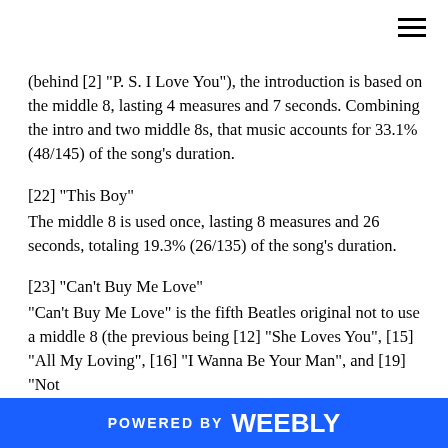(behind [2] "P. S. I Love You"), the introduction is based on the middle 8, lasting 4 measures and 7 seconds. Combining the intro and two middle 8s, that music accounts for 33.1% (48/145) of the song's duration.
[22] "This Boy"
The middle 8 is used once, lasting 8 measures and 26 seconds, totaling 19.3% (26/135) of the song's duration.
[23] "Can't Buy Me Love"
"Can't Buy Me Love" is the fifth Beatles original not to use a middle 8 (the previous being [12] "She Loves You", [15] "All My Loving", [16] "I Wanna Be Your Man", and [19] "Not
POWERED BY weebly